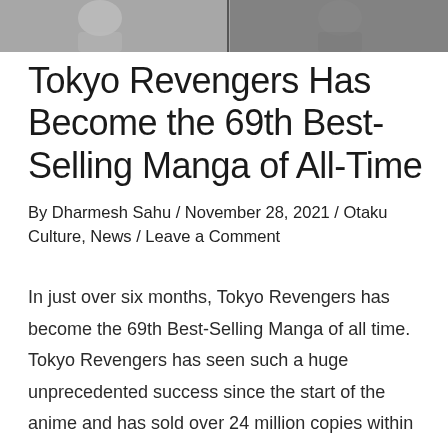[Figure (illustration): Partial manga/anime illustration image strip at the top of the page showing characters in grayscale]
Tokyo Revengers Has Become the 69th Best-Selling Manga of All-Time
By Dharmesh Sahu / November 28, 2021 / Otaku Culture, News / Leave a Comment
In just over six months, Tokyo Revengers has become the 69th Best-Selling Manga of all time.  Tokyo Revengers has seen such a huge unprecedented success since the start of the anime and has sold over 24 million copies within this